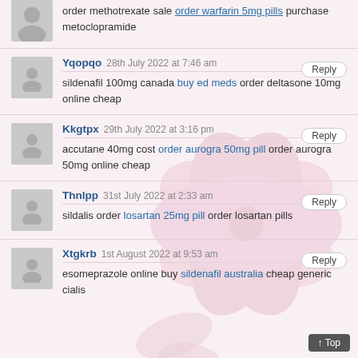order methotrexate sale order warfarin 5mg pills purchase metoclopramide
Yqopqo 28th July 2022 at 7:46 am
sildenafil 100mg canada buy ed meds order deltasone 10mg online cheap
Kkgtpx 29th July 2022 at 3:16 pm
accutane 40mg cost order aurogra 50mg pill order aurogra 50mg online cheap
Thnlpp 31st July 2022 at 2:33 am
sildalis order losartan 25mg pill order losartan pills
Xtgkrb 1st August 2022 at 9:53 am
esomeprazole online buy sildenafil australia cheap generic cialis